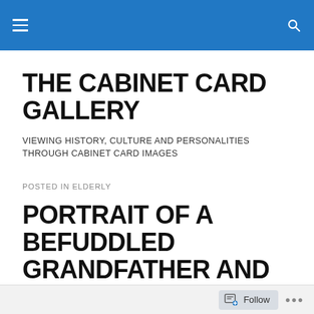THE CABINET CARD GALLERY — site navigation header bar
THE CABINET CARD GALLERY
VIEWING HISTORY, CULTURE AND PERSONALITIES THROUGH CABINET CARD IMAGES
POSTED IN ELDERLY
PORTRAIT OF A BEFUDDLED GRANDFATHER AND YOUNG GRANDCHILD IN JAMESTOWN
Follow ...